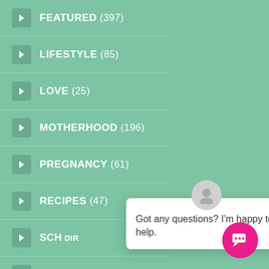FEATURED (397)
LIFESTYLE (85)
LOVE (25)
MOTHERHOOD (196)
PREGNANCY (61)
RECIPES (47)
SCH... DIR...
STYLE (16)
TRENDING NEWS (3)
Got any questions? I'm happy to help.